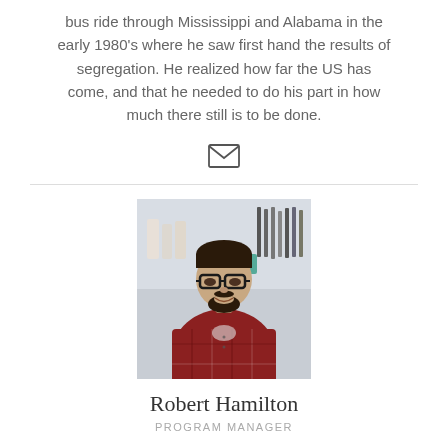bus ride through Mississippi and Alabama in the early 1980's where he saw first hand the results of segregation. He realized how far the US has come, and that he needed to do his part in how much there still is to be done.
[Figure (other): Email envelope icon]
[Figure (photo): Photo of Robert Hamilton standing in what appears to be a store, wearing a red plaid shirt and glasses, smiling]
Robert Hamilton
PROGRAM MANAGER